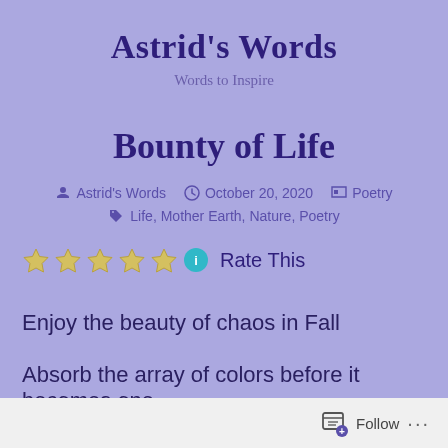Astrid's Words
Words to Inspire
Bounty of Life
Astrid's Words   October 20, 2020   Poetry
Life, Mother Earth, Nature, Poetry
★★★★★ ℹ Rate This
Enjoy the beauty of chaos in Fall
Absorb the array of colors before it becomes one
Follow ...